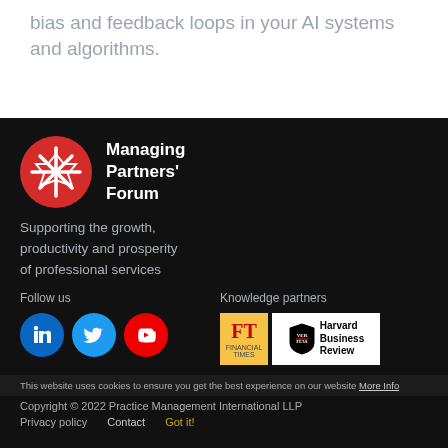bias and feedback loops in your AI systems and algorithms.
[Figure (logo): Managing Partners' Forum logo — red circle with white star/asterisk motif, with bold white text 'Managing Partners' Forum' beside it]
Supporting the growth, productivity and prosperity of professional services
Follow us
[Figure (illustration): Three social media icon circles: LinkedIn (blue), Twitter (blue), YouTube (red)]
Knowledge partners
[Figure (logo): Financial Times logo (salmon/gold background, FT letters) and Harvard Business Review logo (shield with VERITAS, bold text 'Harvard Business Review')]
This website uses cookies to ensure you get the best experience on our website More Info
Copyright © 2022 Practice Management International LLP
Privacy policy    Contact    Got it!